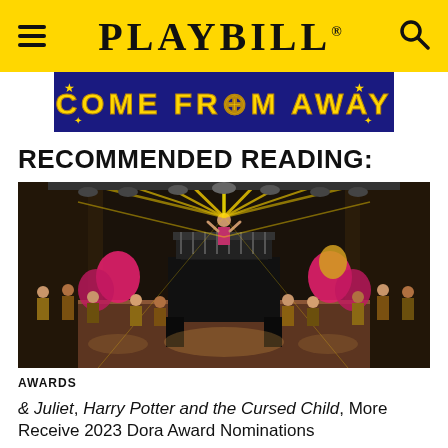PLAYBILL
[Figure (photo): Come From Away advertisement banner with yellow text on dark blue background]
RECOMMENDED READING:
[Figure (photo): Stage production photo showing a performer on a raised platform/balcony with dramatic golden light rays, surrounded by ensemble cast members, colorful balloons visible on sides]
AWARDS
& Juliet, Harry Potter and the Cursed Child, More Receive 2023 Dora Award Nominations